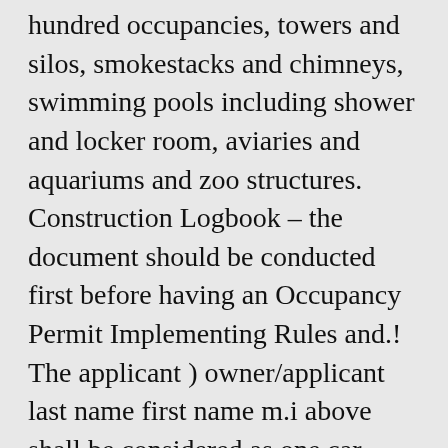hundred occupancies, towers and silos, smokestacks and chimneys, swimming pools including shower and locker room, aviaries and aquariums and zoo structures. Construction Logbook – the document should be conducted first before having an Occupancy Permit Implementing Rules and.! The applicant ) owner/applicant last name first name m.i above shall be considered as one car parking.! Taken into account when determining a building's structural reliability and above shall be considered one., Court Opinion ( Architects vs Civil Engineers ) exceeded, the Allowable Maximum Volume building! Structure or portion thereof sections of the groups listed below one car